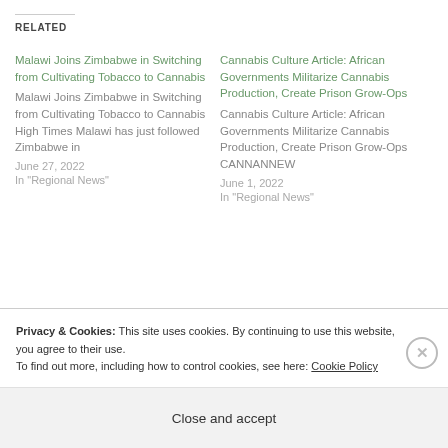Related
Malawi Joins Zimbabwe in Switching from Cultivating Tobacco to Cannabis
Malawi Joins Zimbabwe in Switching from Cultivating Tobacco to Cannabis High Times Malawi has just followed Zimbabwe in
June 27, 2022
In "Regional News"
Cannabis Culture Article: African Governments Militarize Cannabis Production, Create Prison Grow-Ops
Cannabis Culture Article: African Governments Militarize Cannabis Production, Create Prison Grow-Ops CANNANNEW
June 1, 2022
In "Regional News"
Privacy & Cookies: This site uses cookies. By continuing to use this website, you agree to their use.
To find out more, including how to control cookies, see here: Cookie Policy
Close and accept